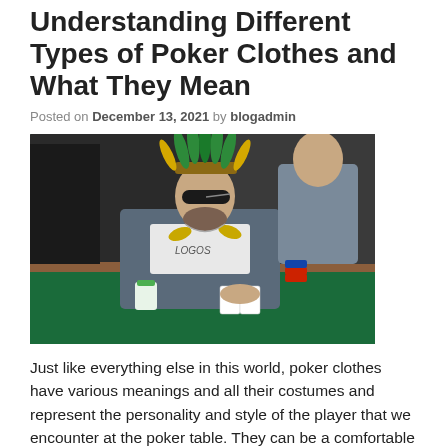Understanding Different Types of Poker Clothes and What They Mean
Posted on December 13, 2021 by blogadmin
[Figure (photo): A man wearing a large Native American-style feathered headdress with green and yellow feathers, sunglasses, and a grey hoodie sitting at a green poker table in a casino. Other players visible in the background.]
Just like everything else in this world, poker clothes have various meanings and all their costumes and represent the personality and style of the player that we encounter at the poker table. They can be a comfortable way to stay at home during the cold season or a bold statement during the summer months. Poker tables are sprouting like full-color fruit